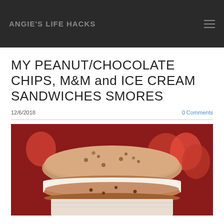ANGIE'S LIFE HACKS
MY PEANUT/CHOCOLATE CHIPS, M&M and ICE CREAM SANDWICHES SMORES
12/6/2018
0 Comments
[Figure (photo): Close-up photo of a peanut/chocolate chip cookie ice cream sandwich, with a tan/golden cookie on top, white ice cream in the middle, and a red background with what appears to be fruit or decorative items behind it.]